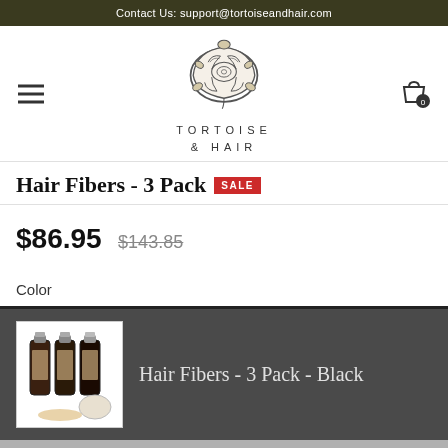Contact Us: support@tortoiseandhair.com
[Figure (logo): Tortoise & Hair brand logo with stylized tortoise shell illustration above text TORTOISE & HAIR]
Hair Fibers - 3 Pack SALE
$86.95  $143.85
Color
[Figure (photo): Three dark bottles of hair fiber product with a small applicator cap, displayed on a white background]
Hair Fibers - 3 Pack - Black